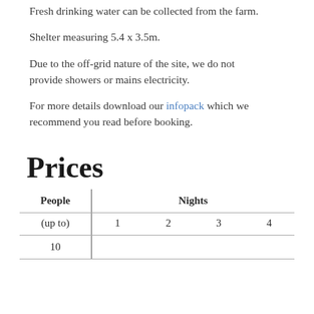Fresh drinking water can be collected from the farm.
Shelter measuring 5.4 x 3.5m.
Due to the off-grid nature of the site, we do not provide showers or mains electricity.
For more details download our infopack which we recommend you read before booking.
Prices
| People | Nights |  |  |  |
| --- | --- | --- | --- | --- |
| (up to) | 1 | 2 | 3 | 4 |
| 10 |  |  |  |  |